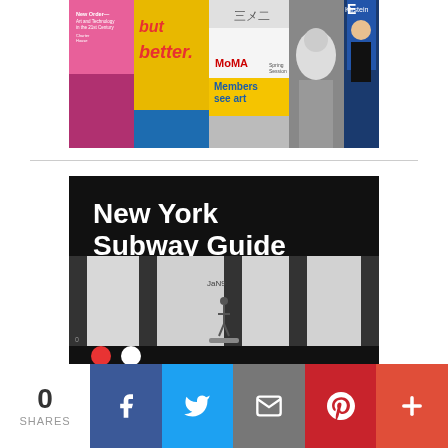[Figure (photo): MoMA promotional collage with book covers and advertisements including 'New Order—Art and Technology in the 21st Century', 'but better.', MoMA Members see art posters, and a speaker photo]
[Figure (photo): Advertisement for New York Subway Guide For Tourists, sponsored by TheJerseyTomatoPress.com. Black background with white bold text 'New York Subway Guide' and red bold text 'For Tourists', subway platform photo below, Flickr dots logo, white sponsor text at bottom.]
0 SHARES
[Figure (infographic): Social share bar with Facebook, Twitter, Email, Pinterest, and More (+) buttons]